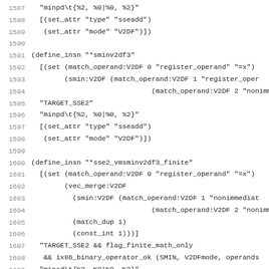[Figure (other): Source code listing (assembly/RTL define_insn patterns for SSE2 min/max operations in GCC machine description), lines 1587-1618, monospaced font with line numbers in gray on left margin.]